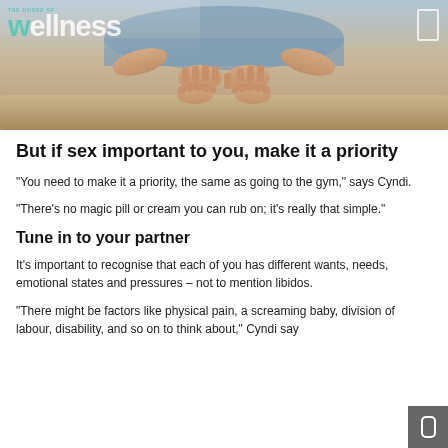The House of Wellness
[Figure (photo): Photo of a person lying on a bed, viewed from above, hands/feet visible, with The House of Wellness logo overlay.]
But if sex important to you, make it a priority
“You need to make it a priority, the same as going to the gym,” says Cyndi.
“There’s no magic pill or cream you can rub on; it’s really that simple.”
Tune in to your partner
It’s important to recognise that each of you has different wants, needs, emotional states and pressures – not to mention libidos.
“There might be factors like physical pain, a screaming baby, division of labour, disability, and so on to think about,” Cyndi say…